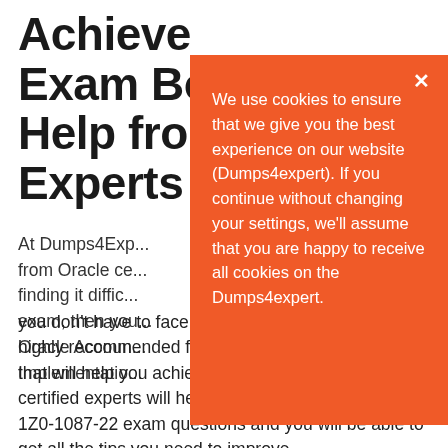Achieve [1Z0-1087-22] Exam Best Results with Help from Oracle Accounting Hub Implementation Experts
At Dumps4Experts, from Oracle ce... finding it diffic... exam, then you Oracle Accoun... Implementatio... you don't have to face any problems later on. It is highly recommended for you to focus on the things that will help you achieve the best results. Our IT certified experts will help you prepare for the updated 1Z0-1087-22 exam questions and you will be able to get all the tips you need to improve
We use cookies to ensure that we give you the best experience on our website (Dumps4expert). If you continue without changing your settings, we'll assume that you are happy to receive all cookies on the Dumps4expert.